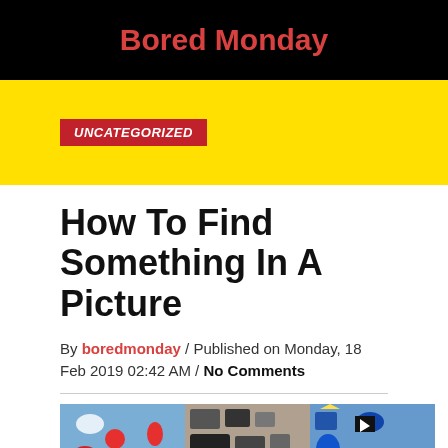Bored Monday
UNCATEGORIZED
How To Find Something In A Picture
By boredmonday / Published on Monday, 18 Feb 2019 02:42 AM / No Comments
[Figure (photo): A colorful collage/hidden object image divided into three panels: left panel with a blue background full of cartoon objects (baseball, candy cane, ball, apple, etc.), center panel with dark/gray objects (camera, scissors, books, etc.), right panel with blue background and pirate/nautical themed objects.]